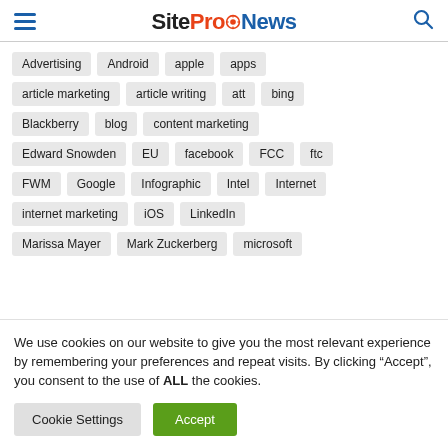SiteProNews
Advertising
Android
apple
apps
article marketing
article writing
att
bing
Blackberry
blog
content marketing
Edward Snowden
EU
facebook
FCC
ftc
FWM
Google
Infographic
Intel
Internet
internet marketing
iOS
LinkedIn
Marissa Mayer
Mark Zuckerberg
microsoft
We use cookies on our website to give you the most relevant experience by remembering your preferences and repeat visits. By clicking “Accept”, you consent to the use of ALL the cookies.